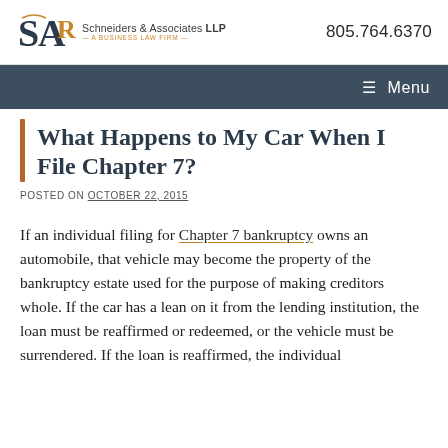Schneiders & Associates LLP — A Business Law Firm | 805.764.6370
What Happens to My Car When I File Chapter 7?
POSTED ON OCTOBER 22, 2015
If an individual filing for Chapter 7 bankruptcy owns an automobile, that vehicle may become the property of the bankruptcy estate used for the purpose of making creditors whole. If the car has a lean on it from the lending institution, the loan must be reaffirmed or redeemed, or the vehicle must be surrendered. If the loan is reaffirmed, the individual